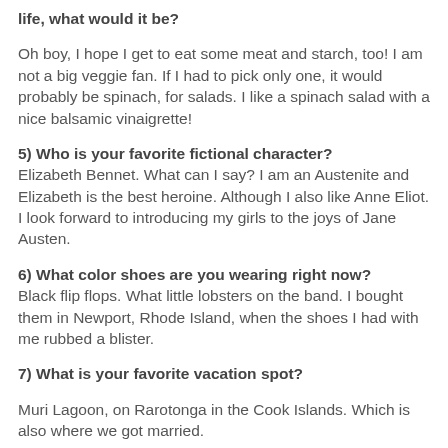life, what would it be?
Oh boy, I hope I get to eat some meat and starch, too! I am not a big veggie fan. If I had to pick only one, it would probably be spinach, for salads. I like a spinach salad with a nice balsamic vinaigrette!
5) Who is your favorite fictional character?
Elizabeth Bennet. What can I say? I am an Austenite and Elizabeth is the best heroine. Although I also like Anne Eliot. I look forward to introducing my girls to the joys of Jane Austen.
6) What color shoes are you wearing right now?
Black flip flops. What little lobsters on the band. I bought them in Newport, Rhode Island, when the shoes I had with me rubbed a blister.
7) What is your favorite vacation spot?
Muri Lagoon, on Rarotonga in the Cook Islands. Which is also where we got married.